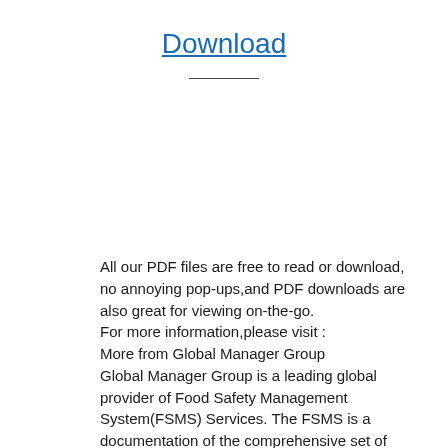Download
All our PDF files are free to read or download, no annoying pop-ups,and PDF downloads are also great for viewing on-the-go.
For more information,please visit :
More from Global Manager Group
Global Manager Group is a leading global provider of Food Safety Management System(FSMS) Services. The FSMS is a documentation of the comprehensive set of policies and procedures, including personnel policies, facilities, equipment